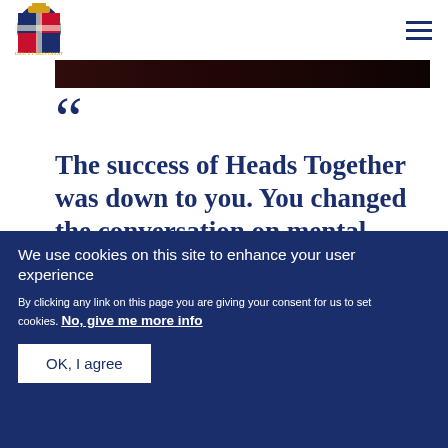[Figure (logo): UK Government Royal Coat of Arms logo in dark blue]
[Figure (photo): Dark photograph strip showing people]
““ The success of Heads Together was down to you. You changed the conversation on mental
We use cookies on this site to enhance your user experience
By clicking any link on this page you are giving your consent for us to set cookies. No, give me more info
OK, I agree